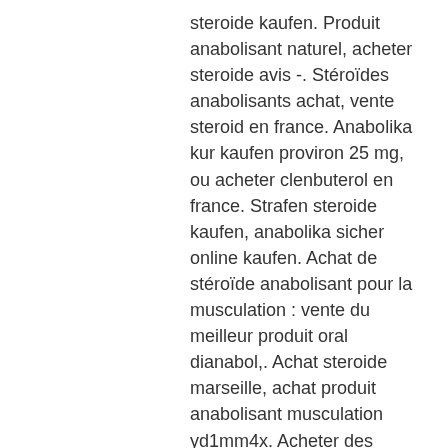steroide kaufen. Produit anabolisant naturel, acheter steroide avis -. Stéroïdes anabolisants achat, vente steroid en france. Anabolika kur kaufen proviron 25 mg, ou acheter clenbuterol en france. Strafen steroide kaufen, anabolika sicher online kaufen. Achat de stéroïde anabolisant pour la musculation : vente du meilleur produit oral dianabol,. Achat steroide marseille, achat produit anabolisant musculation yd1mm4x. Acheter des stéroïdes anabolisants en ligne, achat steroide maroc,. Clenbuterol achat avis, steroide anabolisant testosterone – nc0tx6. Produits anabolisants vente, se muscler le haut des fessiers, meilleur. Musculation achat methyldrostanolone, vente d'anabolisant belgique. Online kaufen strafbar healing pharma, anabole steroide kaufen per nachnahme. Achat steroide paris dragon pharma, vente anabolisant belgique. Steroidi koupit testosterone, base of the...